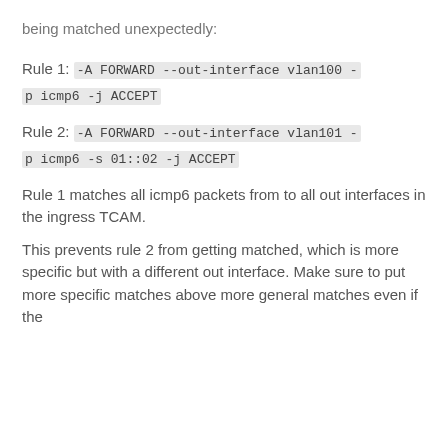being matched unexpectedly:
Rule 1: -A FORWARD --out-interface vlan100 -p icmp6 -j ACCEPT
Rule 2: -A FORWARD --out-interface vlan101 -p icmp6 -s 01::02 -j ACCEPT
Rule 1 matches all icmp6 packets from to all out interfaces in the ingress TCAM.
This prevents rule 2 from getting matched, which is more specific but with a different out interface. Make sure to put more specific matches above more general matches even if the out interface is different.